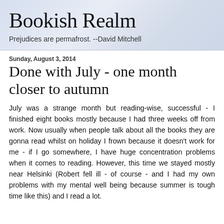Bookish Realm
Prejudices are permafrost. --David Mitchell
Sunday, August 3, 2014
Done with July - one month closer to autumn
July was a strange month but reading-wise, successful - I finished eight books mostly because I had three weeks off from work. Now usually when people talk about all the books they are gonna read whilst on holiday I frown because it doesn't work for me - if I go somewhere, I have huge concentration problems when it comes to reading. However, this time we stayed mostly near Helsinki (Robert fell ill - of course - and I had my own problems with my mental well being because summer is tough time like this) and I read a lot.